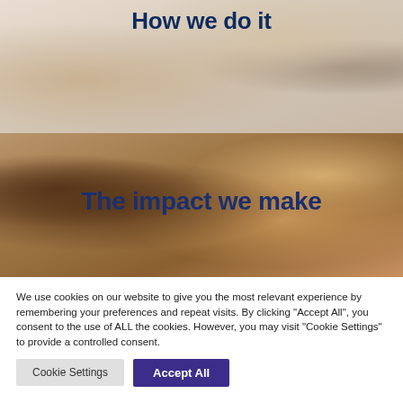[Figure (photo): Background photo of a person in a kitchen/home setting with stone wall, overlaid with title 'How we do it']
How we do it
[Figure (photo): Background photo of two people outdoors in warm light, overlaid with title 'The impact we make']
The impact we make
We use cookies on our website to give you the most relevant experience by remembering your preferences and repeat visits. By clicking "Accept All", you consent to the use of ALL the cookies. However, you may visit "Cookie Settings" to provide a controlled consent.
Cookie Settings | Accept All